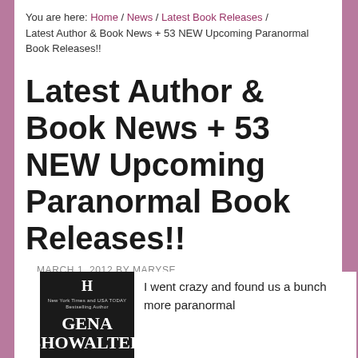You are here: Home / News / Latest Book Releases / Latest Author & Book News + 53 NEW Upcoming Paranormal Book Releases!!
Latest Author & Book News + 53 NEW Upcoming Paranormal Book Releases!!
MARCH 1, 2012 BY MARYSE
5 COMMENTS
[Figure (photo): Book cover showing Gena Showalter with Harlequin publisher logo and New York Times and USA TODAY Bestselling Author text]
I went crazy and found us a bunch more paranormal